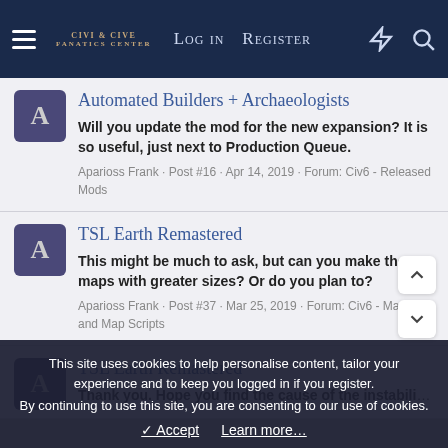Log in   Register
Automated Builders + Archaeologists
Will you update the mod for the new expansion? It is so useful, just next to Production Queue.
Aparioss Frank · Post #16 · Apr 14, 2019 · Forum: Civ6 - Released Mods
TSL Earth Remastered
This might be much to ask, but can you make these maps with greater sizes? Or do you plan to?
Aparioss Frank · Post #37 · Mar 25, 2019 · Forum: Civ6 - Maps and Map Scripts
TSL Earth Remastered
Thank you. Hope you find the cause of the instability soon. Truly
This site uses cookies to help personalise content, tailor your experience and to keep you logged in if you register. By continuing to use this site, you are consenting to our use of cookies.